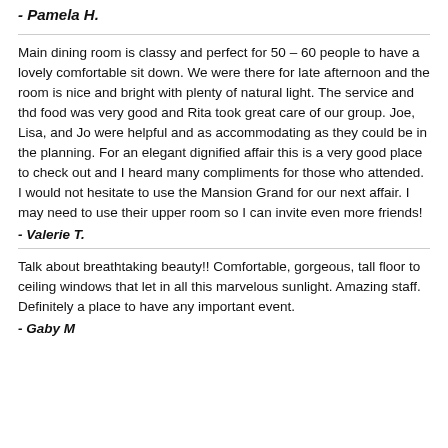- Pamela H.
Main dining room is classy and perfect for 50 – 60 people to have a lovely comfortable sit down. We were there for late afternoon and the room is nice and bright with plenty of natural light. The service and thd food was very good and Rita took great care of our group. Joe, Lisa, and Jo were helpful and as accommodating as they could be in the planning. For an elegant dignified affair this is a very good place to check out and I heard many compliments for those who attended. I would not hesitate to use the Mansion Grand for our next affair. I may need to use their upper room so I can invite even more friends!
- Valerie T.
Talk about breathtaking beauty!! Comfortable, gorgeous, tall floor to ceiling windows that let in all this marvelous sunlight. Amazing staff. Definitely a place to have any important event.
- Gaby M